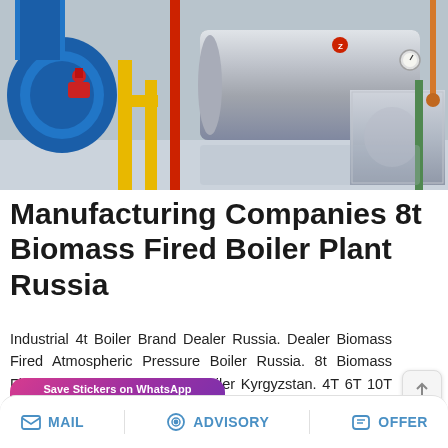[Figure (photo): Industrial boiler plant interior showing a large cylindrical horizontal boiler with metallic casing, blue piping on the left, yellow pipes, red structural elements, and industrial equipment in a factory setting]
Manufacturing Companies 8t Biomass Fired Boiler Plant Russia
Industrial 4t Boiler Brand Dealer Russia. Dealer Biomass Fired Atmospheric Pressure Boiler Russia. 8t Biomass Fired Atmospheric Pressure Boiler Kyrgyzstan. 4T 6T 10T Heavy Oil Fired Steam Boiler. top 1…
[Figure (screenshot): WhatsApp Save Stickers banner with gradient purple/pink background showing WhatsApp icon and a smiley sticker icon]
MAIL   ADVISORY   OFFER